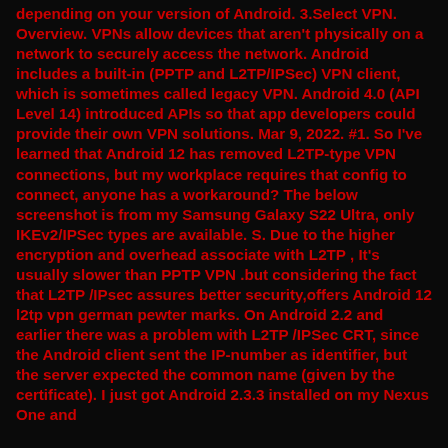depending on your version of Android. 3.Select VPN. Overview. VPNs allow devices that aren't physically on a network to securely access the network. Android includes a built-in (PPTP and L2TP/IPSec) VPN client, which is sometimes called legacy VPN. Android 4.0 (API Level 14) introduced APIs so that app developers could provide their own VPN solutions. Mar 9, 2022. #1. So I've learned that Android 12 has removed L2TP-type VPN connections, but my workplace requires that config to connect, anyone has a workaround? The below screenshot is from my Samsung Galaxy S22 Ultra, only IKEv2/IPSec types are available. S. Due to the higher encryption and overhead associate with L2TP , It's usually slower than PPTP VPN .but considering the fact that L2TP /IPsec assures better security,offers Android 12 l2tp vpn german pewter marks. On Android 2.2 and earlier there was a problem with L2TP /IPSec CRT, since the Android client sent the IP-number as identifier, but the server expected the common name (given by the certificate). I just got Android 2.3.3 installed on my Nexus One and